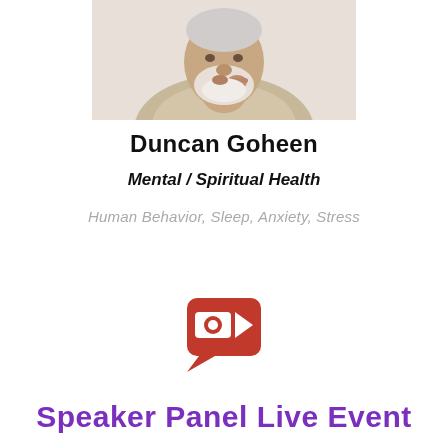[Figure (photo): Headshot of an older man with white beard, thinking pose, wearing a light beige shirt, cropped at top of page]
Duncan Goheen
Mental / Spiritual Health
Human Behavior, Sleep, Anxiety, Stress
[Figure (logo): Red Google Meet / video camera chat bubble icon]
Speaker Panel Live Event